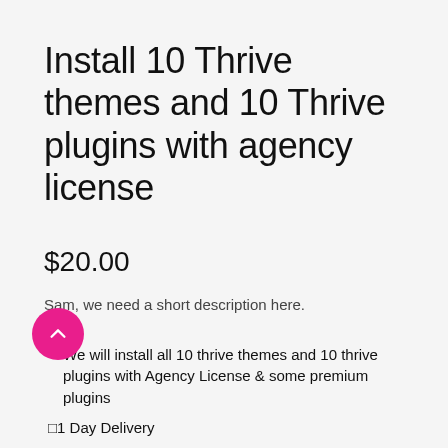Install 10 Thrive themes and 10 Thrive plugins with agency license
$20.00
Sam, we need a short description here.
We will install all 10 thrive themes and 10 thrive plugins with Agency License & some premium plugins
1 Day Delivery